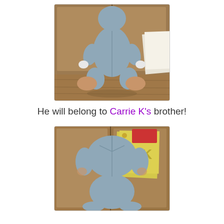[Figure (photo): Back view of a gray stuffed animal (rabbit or similar) seated on a wooden floor in front of wooden cabinet doors, showing tan/peach colored foot pads and white accents]
He will belong to Carrie K's brother!
[Figure (photo): Top/overhead view of the same gray stuffed animal showing the back of its head and upper body, with yellow paper and red object visible in the background on wooden surface]